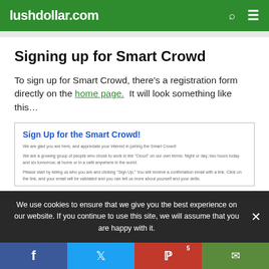lushdollar.com
Signing up for Smart Crowd
To sign up for Smart Crowd, there's a registration form directly on the home page.  It will look something like this…
[Figure (screenshot): Screenshot of 'Sign Up for the Smart Crowd!' registration form with introductory text paragraphs]
We use cookies to ensure that we give you the best experience on our website. If you continue to use this site, we will assume that you are happy with it.